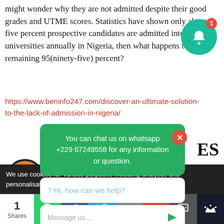might wonder why they are not admitted despite their good grades and UTME scores. Statistics have shown only about five percent prospective candidates are admitted into universities annually in Nigeria, then what happens to the remaining 95(ninety-five) percent?
https://www.beninfo247.com/discover-an-ultimate-solution-to-the-lack-of-admission-in-nigeria/
You can chat us on whatsapp +229 67249558 for any information or question.
? Hi, how can we help?
Message us ...
We use cookies for various purposes including analytics and personalisation. By continuing to use the service, you agree to
1 Shares